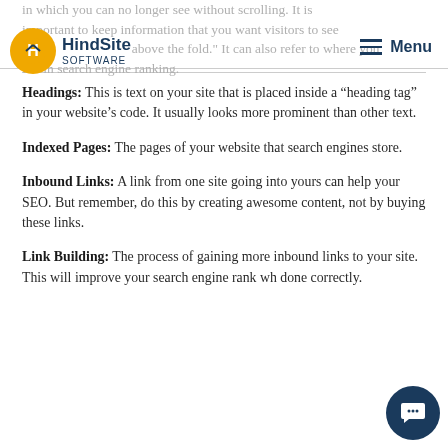in which you can no longer see without scrolling. It is important to keep information that you want visitors to see right above the fold. It can also refer to where you fall in search engine ranking.
Headings: This is text on your site that is placed inside a “heading tag” in your website’s code. It usually looks more prominent than other text.
Indexed Pages: The pages of your website that search engines store.
Inbound Links: A link from one site going into yours can help your SEO. But remember, do this by creating awesome content, not by buying these links.
Link Building: The process of gaining more inbound links to your site. This will improve your search engine rank when done correctly.